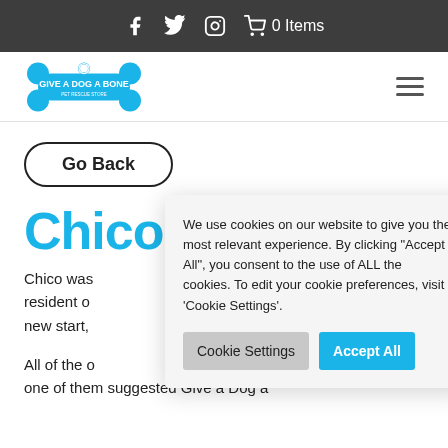f  Twitter  Instagram  🛒 0 Items
[Figure (logo): Give a Dog a Bone logo — blue bone shape with white text]
Go Back
Chico
Chico was resident o new start,
All of the o one of them suggested Give a Dog a
We use cookies on our website to give you the most relevant experience. By clicking "Accept All", you consent to the use of ALL the cookies. To edit your cookie preferences, visit 'Cookie Settings'.
Cookie Settings
Accept All